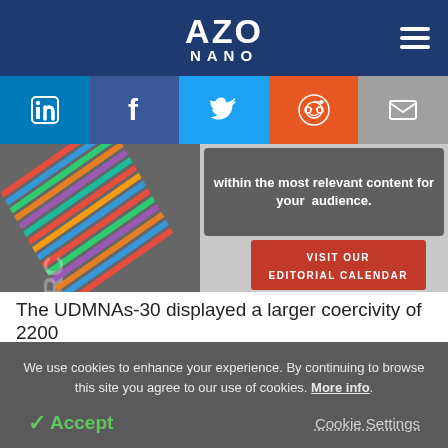AZO NANO
[Figure (screenshot): Social media sharing buttons: LinkedIn, Facebook, Twitter, Reddit, Email]
[Figure (infographic): Banner with colorful keyboard/planner image on the left and text overlay on the right reading 'within the most relevant content for your audience.' with a red button 'VISIT OUR EDITORIAL CALENDAR']
The UDMNAs-30 displayed a larger coercivity of 2200
We use cookies to enhance your experience. By continuing to browse this site you agree to our use of cookies. More info.
✓ Accept   Cookie Settings